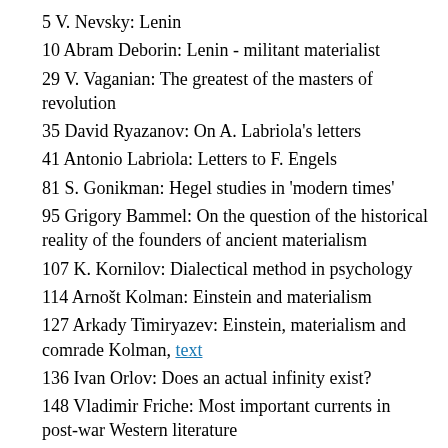5 V. Nevsky: Lenin
10 Abram Deborin: Lenin - militant materialist
29 V. Vaganian: The greatest of the masters of revolution
35 David Ryazanov: On A. Labriola's letters
41 Antonio Labriola: Letters to F. Engels
81 S. Gonikman: Hegel studies in 'modern times'
95 Grigory Bammel: On the question of the historical reality of the founders of ancient materialism
107 K. Kornilov: Dialectical method in psychology
114 Arnošt Kolman: Einstein and materialism
127 Arkady Timiryazev: Einstein, materialism and comrade Kolman, text
136 Ivan Orlov: Does an actual infinity exist?
148 Vladimir Friche: Most important currents in post-war Western literature
164 Mich. Pavlovich: V. Lenin and the national question